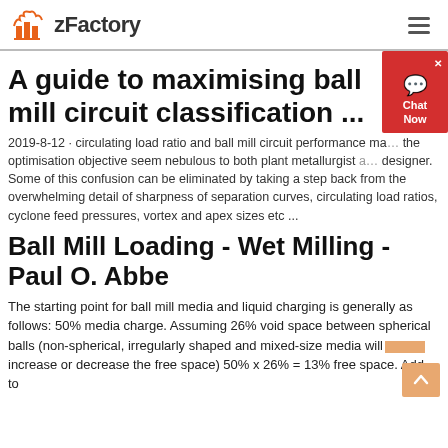zFactory
A guide to maximising ball mill circuit classification ...
2019-8-12 · circulating load ratio and ball mill circuit performance make the optimisation objective seem nebulous to both plant metallurgist and designer. Some of this confusion can be eliminated by taking a step back from the overwhelming detail of sharpness of separation curves, circulating load ratios, cyclone feed pressures, vortex and apex sizes etc ...
Ball Mill Loading - Wet Milling - Paul O. Abbe
The starting point for ball mill media and liquid charging is generally as follows: 50% media charge. Assuming 26% void space between spherical balls (non-spherical, irregularly shaped and mixed-size media will increase or decrease the free space) 50% x 26% = 13% free space. Add to